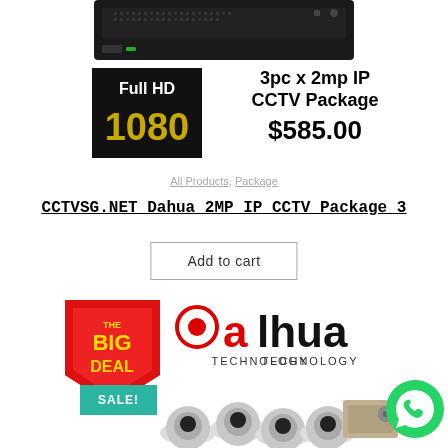[Figure (photo): Black DVR/NVR device shown from above, top portion cropped]
[Figure (logo): Full HD 1080 badge - black background with gold/yellow text '1080' and white 'Full HD' text]
3pc x 2mp IP CCTV Package $585.00
All Products, Package
CCTVSG.NET Dahua 2MP IP CCTV Package 3
Add to cart
[Figure (logo): The Big Deal promotional badge - red arrow/badge with yellow text 'THE BIG DEAL']
[Figure (logo): Dahua Technology logo - red and black text 'alhua TECHNOLOGY' with circular icon]
[Figure (photo): SALE badge in teal/green color]
[Figure (photo): Multiple white dome CCTV cameras and a hard disk drive displayed]
[Figure (logo): WhatsApp green circular button with phone icon]